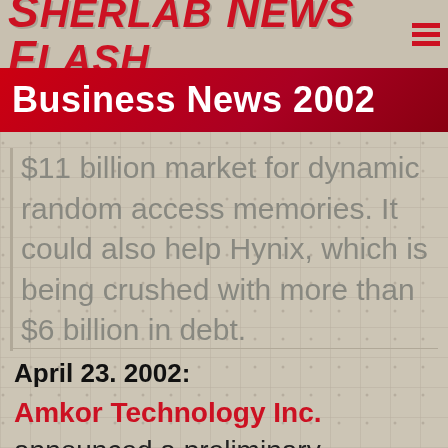Sherlab News Flash
Business News 2002
$11 billion market for dynamic random access memories. It could also help Hynix, which is being crushed with more than $6 billion in debt.
April 23. 2002:
Amkor Technology Inc. announced a preliminary agreement to set up a joint venture with Fujitsu Ltd...